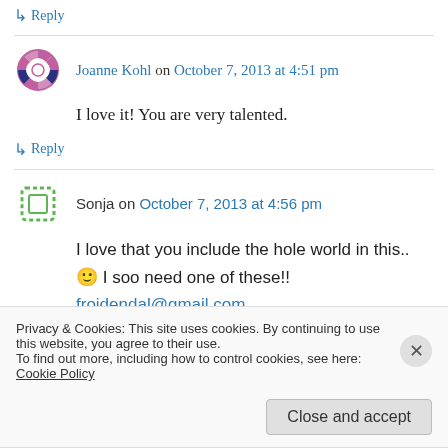↳ Reply
Joanne Kohl on October 7, 2013 at 4:51 pm
I love it! You are very talented.
↳ Reply
Sonja on October 7, 2013 at 4:56 pm
I love that you include the hole world in this.. 🙂 I soo need one of these!! frojdendal@gmail.com
Privacy & Cookies: This site uses cookies. By continuing to use this website, you agree to their use.
To find out more, including how to control cookies, see here: Cookie Policy